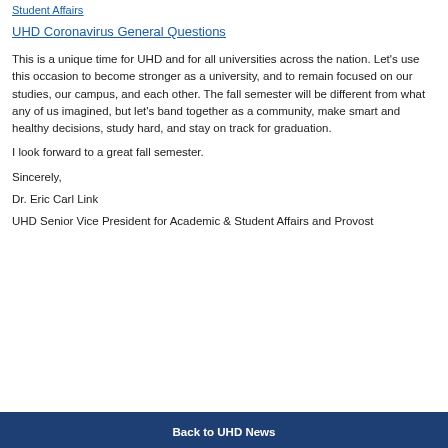Student Affairs
UHD Coronavirus General Questions
This is a unique time for UHD and for all universities across the nation. Let's use this occasion to become stronger as a university, and to remain focused on our studies, our campus, and each other. The fall semester will be different from what any of us imagined, but let's band together as a community, make smart and healthy decisions, study hard, and stay on track for graduation.
I look forward to a great fall semester.
Sincerely,
Dr. Eric Carl Link
UHD Senior Vice President for Academic & Student Affairs and Provost
Back to UHD News